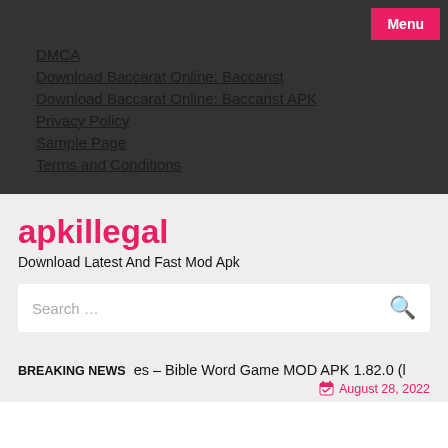Menu
DMCA
Download Baccarat Online: Baccarist
Download Baccarat Online: Baccarist APK
Privacy Policy
Sample Page
Terms and Conditions
apkillegal
Download Latest And Fast Mod Apk
Search …
BREAKING NEWS   es – Bible Word Game MOD APK 1.82.0 (l
August 28, 2022